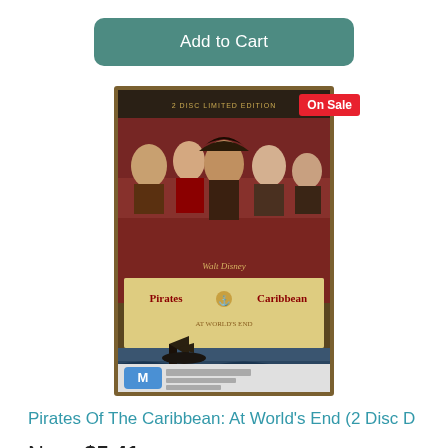Add to Cart
[Figure (photo): DVD cover for Pirates of the Caribbean: At World's End 2 Disc Limited Edition, showing cast members including Jack Sparrow, with an 'On Sale' badge in red at top right]
Pirates Of The Caribbean: At World's End (2 Disc D
Now  $5.41